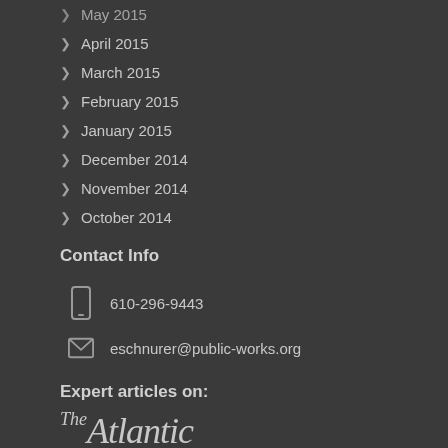May 2015
April 2015
March 2015
February 2015
January 2015
December 2014
November 2014
October 2014
Contact Info
610-296-9443
eschnurer@public-works.org
Expert articles on:
[Figure (logo): The Atlantic logo in italic serif font]